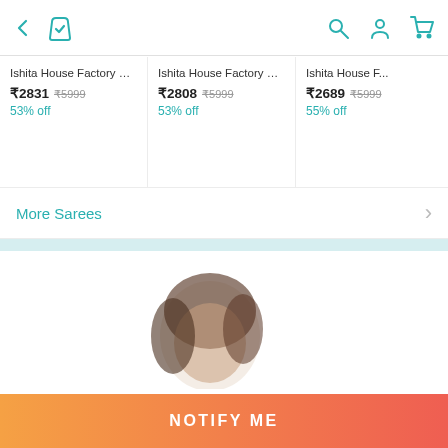Navigation bar with back arrow, shopping bag icon, search, account, and cart icons
Ishita House Factory Outle... ₹2831 ₹5999 53% off
Ishita House Factory Outle... ₹2808 ₹5999 53% off
Ishita House F... ₹2689 ₹5999 55% off
More Sarees
[Figure (photo): Partial view of a female model's head/face, partially visible, showing dark hair and a face looking down]
NOTIFY ME